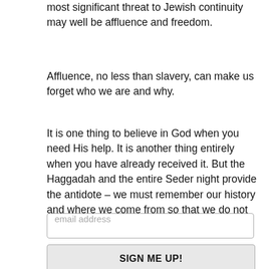most significant threat to Jewish continuity may well be affluence and freedom.
Affluence, no less than slavery, can make us forget who we are and why.
It is one thing to believe in God when you need His help. It is another thing entirely when you have already received it. But the Haggadah and the entire Seder night provide the antidote – we must remember our history and where we come from so that we do not lose our way.
email address
SIGN ME UP!